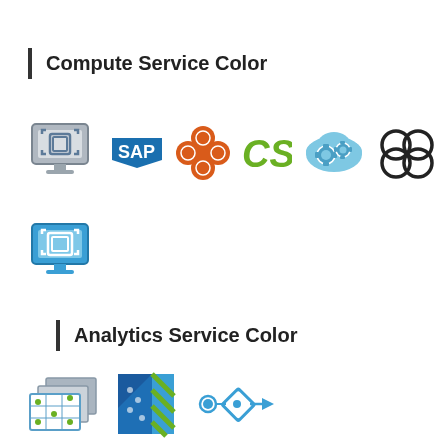Compute Service Color
[Figure (illustration): Row of compute service icons: virtualization monitor icon (grey/blue), SAP logo (blue), orange diamond/flower shape icon, CrowdStrike CS logo (green), cloud gear icon (blue), overlapping circles icon (black outline), document copy icon (blue/green arrow)]
[Figure (illustration): Single compute service icon: virtualization monitor icon (blue)]
Analytics Service Color
[Figure (illustration): Row of analytics service icons: stacked layers/grid icon (grey/blue/green), diagonal stripe arrow icon (blue/green), network node/diamond arrow icon (blue)]